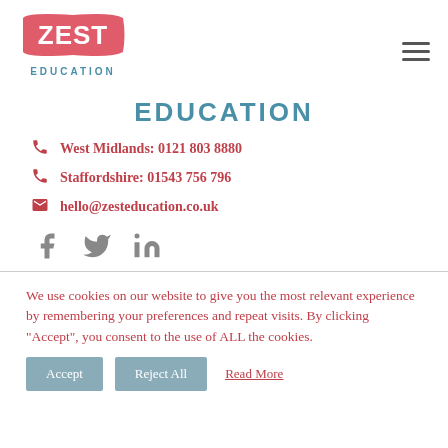[Figure (logo): Zest Education logo - pink banner with white ZEST text and teal EDUCATION text below]
EDUCATION
West Midlands: 0121 803 8880
Staffordshire: 01543 756 796
hello@zesteducation.co.uk
[Figure (illustration): Social media icons: Facebook, Twitter, LinkedIn]
We use cookies on our website to give you the most relevant experience by remembering your preferences and repeat visits. By clicking "Accept", you consent to the use of ALL the cookies.